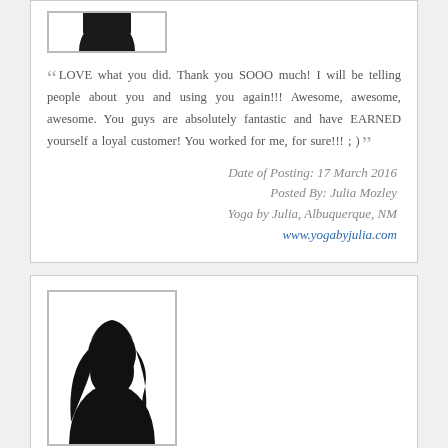[Figure (illustration): Silhouette avatar placeholder image (cropped, top of card)]
LOVE what you did. Thank you SOOO much! I will be telling people about you and using you again!!! Awesome, awesome, awesome. You guys are absolutely fantastic and have EARNED yourself a loyal customer! You worked for me, for sure!!! ; )
Date of Posting: 17 March 2016
Posted By: Julia Mozley
Yoga by Julia, Albuquerque, NM
www.yogabyjulia.com
[Figure (illustration): Silhouette avatar of a woman with long hair, framed in a light gray border]